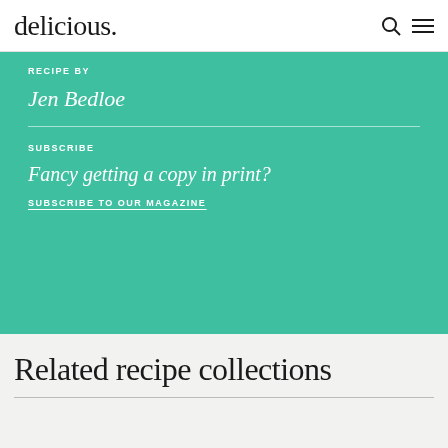delicious.
RECIPE BY
Jen Bedloe
SUBSCRIBE
Fancy getting a copy in print?
SUBSCRIBE TO OUR MAGAZINE
Related recipe collections